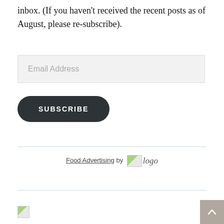inbox. (If you haven't received the recent posts as of August, please re-subscribe).
[Figure (other): Email address input field with light gray background]
[Figure (other): Subscribe button with dark rounded rectangle background]
Food Advertising by logo
[Figure (logo): Broken image placeholder with logo text next to Food Advertising by text]
[Figure (other): Broken image placeholder at bottom left]
[Figure (other): Back to top button at bottom right, arrow pointing up]